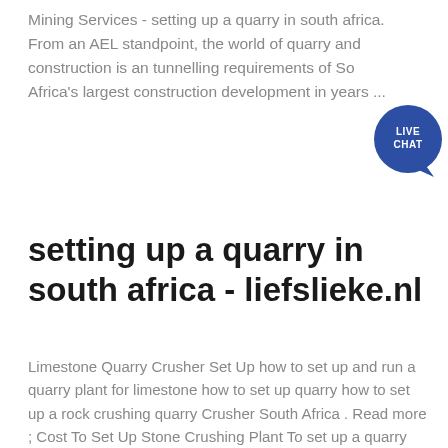Mining Services - setting up a quarry in south africa. From an AEL standpoint, the world of quarry and construction is an tunnelling requirements of South Africa's largest construction development in years ...
[Figure (other): Live Chat speech bubble icon with dark blue circular background and white text reading LIVE CHAT]
setting up a quarry in south africa - liefslieke.nl
Limestone Quarry Crusher Set Up how to set up and run a quarry plant for limestone how to set up quarry how to set up a rock crushing quarry Crusher South Africa . Read more ; Cost To Set Up Stone Crushing Plant To set up a quarry stone It can crush many types of stones and rocks such as limestone quarry ...
Umtata Quarries • Umtata • Oos-